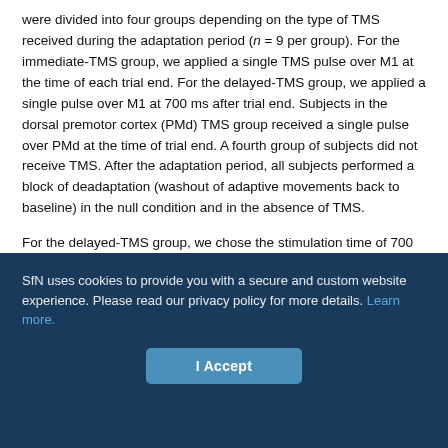were divided into four groups depending on the type of TMS received during the adaptation period (n = 9 per group). For the immediate-TMS group, we applied a single TMS pulse over M1 at the time of each trial end. For the delayed-TMS group, we applied a single pulse over M1 at 700 ms after trial end. Subjects in the dorsal premotor cortex (PMd) TMS group received a single pulse over PMd at the time of trial end. A fourth group of subjects did not receive TMS. After the adaptation period, all subjects performed a block of deadaptation (washout of adaptive movements back to baseline) in the null condition and in the absence of TMS.
For the delayed-TMS group, we chose the stimulation time of 700 ms after trial end as it was the latest time during the intertrial interval at which TMS could be applied...
SfN uses cookies to provide you with a secure and custom website experience. Please read our privacy policy for more details. Learn more.